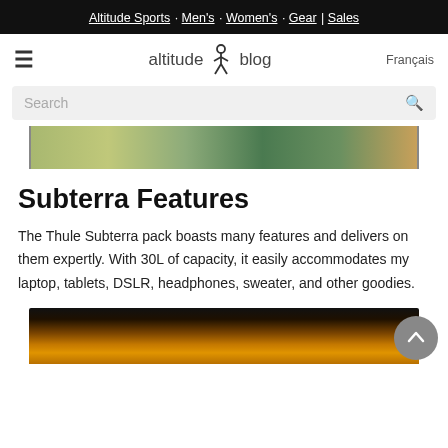Altitude Sports · Men's · Women's · Gear | Sales
altitude blog   Français
Search
[Figure (photo): Partial photo showing the bottom of a person wearing outdoor/hiking gear on a wooden surface]
Subterra Features
The Thule Subterra pack boasts many features and delivers on them expertly. With 30L of capacity, it easily accommodates my laptop, tablets, DSLR, headphones, sweater, and other goodies.
[Figure (photo): Partial photo showing the top of a yellow/orange backpack against a dark/black background]